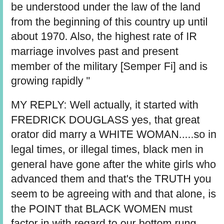be understood under the law of the land from the beginning of this country up until about 1970. Also, the highest rate of IR marriage involves past and present member of the military [Semper Fi] and is growing rapidly "
MY REPLY: Well actually, it started with FREDRICK DOUGLASS yes, that great orator did marry a WHITE WOMAN.....so in legal times, or illegal times, black men in general have gone after the white girls who advanced them and that's the TRUTH you seem to be agreeing with and that alone, is the POINT that BLACK WOMEN must factor in with regard to our bottom rung world status . Still, RR old buddy, the point WAS NEVER the issue of IR DATING that's not the purpose of this post. For as I said, WHO CARES and I'll add, so WHAT'S YOUR POINT? In fact, I'm all for it, now let's get back to the subject matter. How to stop this colored boy